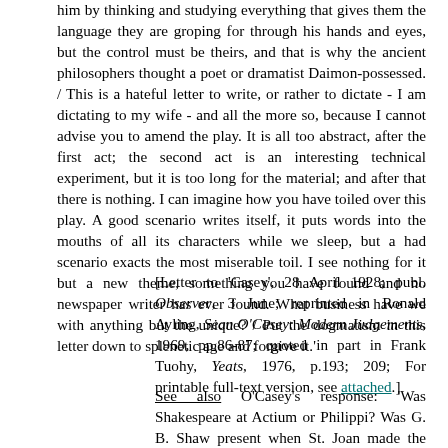him by thinking and studying everything that gives them the language they are groping for through his hands and eyes, but the control must be theirs, and that is why the ancient philosophers thought a poet or dramatist Daimon-possessed. / This is a hateful letter to write, or rather to dictate - I am dictating to my wife - and all the more so, because I cannot advise you to amend the play. It is all too abstract, after the first act; the second act is an interesting technical experiment, but it is too long for the material; and after that there is nothing. I can imagine how you have toiled over this play. A good scenario writes itself, it puts words into the mouths of all its characters while we sleep, but a had scenario exacts the most miserable toil. I see nothing for it but a new theme, something you have found and no newspaper writer has ever found. What business have we with anything but the unique? / Put the dogmatism in this letter down to splenetic age and forgive it.'
[Letter to 'Casey', 28 April 1928; publ. Observer, 3 June; reprinted in Ronald Ayling, Sean O'Casey: Modern Judgements, 1969, pp.86-87; quoted in part in Frank Tuohy, Yeats, 1976, p.193; 209; For printable full-text version, see attached.]
See also O'Casey's response: 'Was Shakespeare at Actium or Philippi? Was G. B. Shaw present when St. Joan made the attack that relieve Orléans? And someone, I think, wrote a poem about Tír na nÓg, who never took a header into the Land of Youth.' Further: 'God forgive me, but it does sound as if you peeked and pined for a hero in the play. Now, is a dominating character more important than a play, or a play more important than a dominating character?